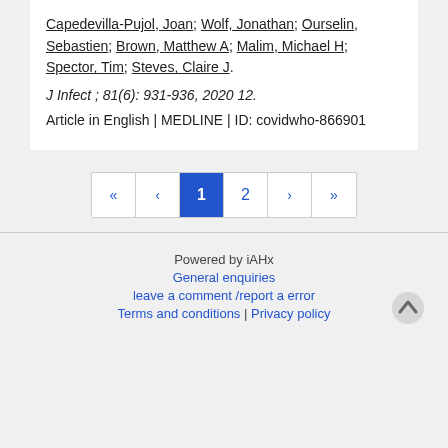Capedevilla-Pujol, Joan; Wolf, Jonathan; Ourselin, Sebastien; Brown, Matthew A; Malim, Michael H; Spector, Tim; Steves, Claire J.
J Infect ; 81(6): 931-936, 2020 12.
Article in English | MEDLINE | ID: covidwho-866901
[Figure (other): Pagination control with buttons: first page (<<), previous (<), current page 1 (active/highlighted in blue), page 2, next (>), last (>>)]
Powered by iAHx
General enquiries
leave a comment /report a error
Terms and conditions | Privacy policy